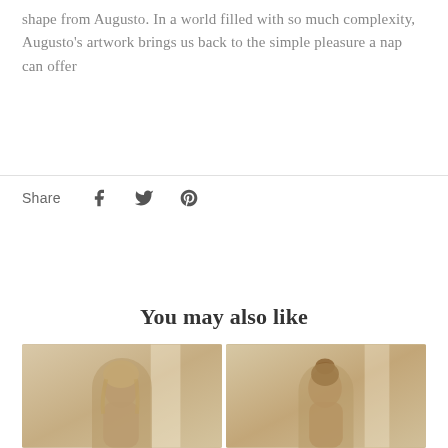shape from Augusto. In a world filled with so much complexity, Augusto's artwork brings us back to the simple pleasure a nap can offer
Share
You may also like
[Figure (photo): Photo of a person with blonde hair seen from behind, in a warm-toned room]
[Figure (photo): Photo of a person with dark hair, facing slightly toward camera, in a warm-toned room]